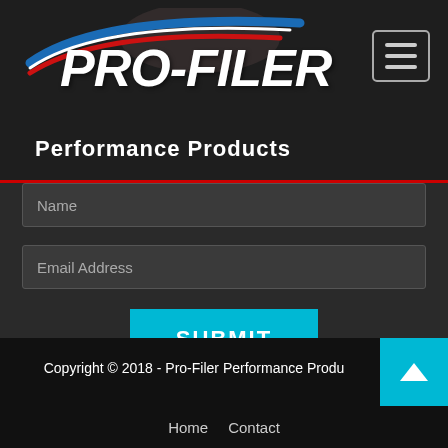[Figure (logo): PRO-FILER Performance Products logo with swoosh graphic and eyes imagery in header]
Name
Email Address
SUBMIT
We respect your email privacy
Copyright © 2018 - Pro-Filer Performance Products
Home   Contact